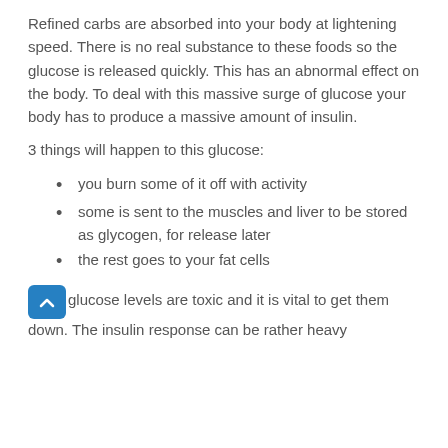Refined carbs are absorbed into your body at lightening speed. There is no real substance to these foods so the glucose is released quickly. This has an abnormal effect on the body. To deal with this massive surge of glucose your body has to produce a massive amount of insulin.
3 things will happen to this glucose:
you burn some of it off with activity
some is sent to the muscles and liver to be stored as glycogen, for release later
the rest goes to your fat cells
High glucose levels are toxic and it is vital to get them down. The insulin response can be rather heavy